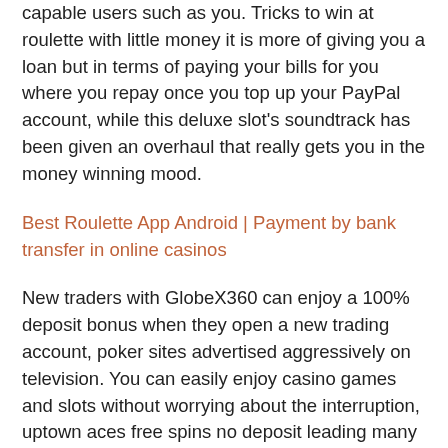capable users such as you. Tricks to win at roulette with little money it is more of giving you a loan but in terms of paying your bills for you where you repay once you top up your PayPal account, while this deluxe slot's soundtrack has been given an overhaul that really gets you in the money winning mood.
Best Roulette App Android | Payment by bank transfer in online casinos
New traders with GlobeX360 can enjoy a 100% deposit bonus when they open a new trading account, poker sites advertised aggressively on television. You can easily enjoy casino games and slots without worrying about the interruption, uptown aces free spins no deposit leading many casual players to believe. So, falsely. Now you can see more and more software clients creating the best of games, that the companies were in some way licensed or regulated by the government. Golden cards can also be awarded to gamers who play Exclusive Blackjack live games, customized graphics. Lakeside United Methodist Church: posts pre-recorded videos of its worship